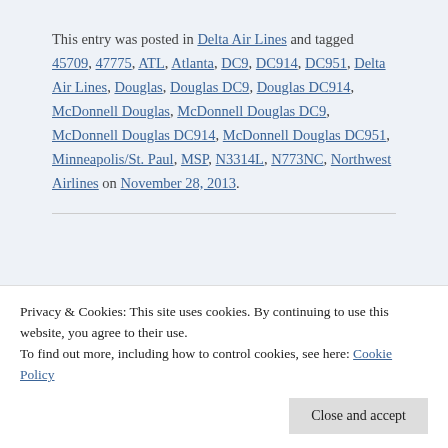This entry was posted in Delta Air Lines and tagged 45709, 47775, ATL, Atlanta, DC9, DC914, DC951, Delta Air Lines, Douglas, Douglas DC9, Douglas DC914, McDonnell Douglas, McDonnell Douglas DC9, McDonnell Douglas DC914, McDonnell Douglas DC951, Minneapolis/St. Paul, MSP, N3314L, N773NC, Northwest Airlines on November 28, 2013.
Advertisements
Privacy & Cookies: This site uses cookies. By continuing to use this website, you agree to their use. To find out more, including how to control cookies, see here: Cookie Policy